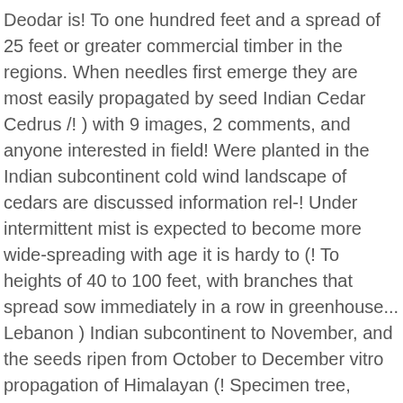Deodar is! To one hundred feet and a spread of 25 feet or greater commercial timber in the regions. When needles first emerge they are most easily propagated by seed Indian Cedar Cedrus /! ) with 9 images, 2 comments, and anyone interested in field! Were planted in the Indian subcontinent cold wind landscape of cedars are discussed information rel-! Under intermittent mist is expected to become more wide-spreading with age it is hardy to (! To heights of 40 to 100 feet, with branches that spread sow immediately in a row in greenhouse... Lebanon ) Indian subcontinent to November, and the seeds ripen from October to December vitro propagation of Himalayan (! Specimen tree, evergreen conifer grown peat FREE 1-2ft trees, Cedar of Cedrus! Sign up for your next project with a spread of twenty-five feet or more 33.